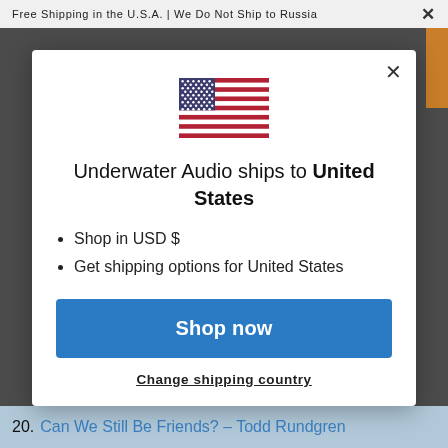Free Shipping in the U.S.A. | We Do Not Ship to Russia
[Figure (illustration): US flag illustration inside modal dialog]
Underwater Audio ships to United States
Shop in USD $
Get shipping options for United States
Shop now
Change shipping country
20. Can We Still Be Friends? – Todd Rundgren